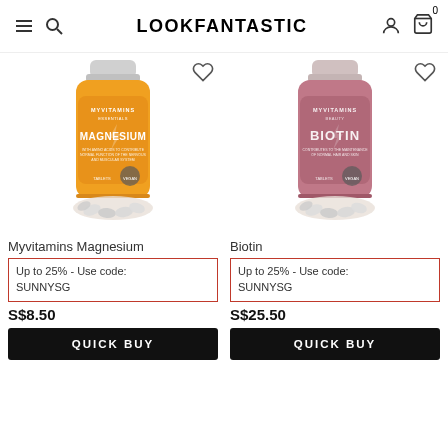LOOKFANTASTIC
[Figure (photo): Myvitamins Magnesium orange supplement bottle with tablets at base]
[Figure (photo): Myvitamins Biotin pink supplement bottle with tablets at base]
Myvitamins Magnesium
Biotin
Up to 25% - Use code: SUNNYSG
Up to 25% - Use code: SUNNYSG
S$8.50
S$25.50
QUICK BUY
QUICK BUY